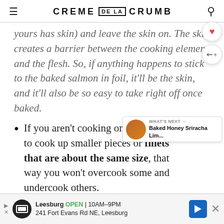CREME DE LA CRUMB
yours has skin) and leave the skin on. The skin creates a barrier between the cooking element and the flesh. So, if anything happens to stick to the baked salmon in foil, it'll be the skin, and it'll also be so easy to take right off once baked.
If you aren't cooking one big fillet, try to cook up smaller pieces or fillets that are about the same size, that way you won't overcook some and undercook others.
To help the seasonings stick to the salmon dry before adding salt and pepper. That will make the skin get crispy too, and help keep